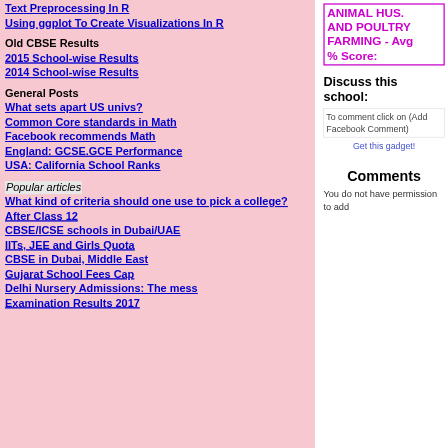Text Preprocessing In R
Using ggplot To Create Visualizations In R
Old CBSE Results
2015 School-wise Results
2014 School-wise Results
General Posts
What sets apart US univs?
Common Core standards in Math
Facebook recommends Math
England: GCSE.GCE Performance
USA: California School Ranks
Popular articles
What kind of criteria should one use to pick a college?
After Class 12
CBSE/ICSE schools in Dubai/UAE
IITs, JEE and Girls Quota
CBSE in Dubai, Middle East
Gujarat School Fees Cap
Delhi Nursery Admissions: The mess
Examination Results 2017
ANIMAL HUS. AND POULTRY FARMING - Avg % Score:
Discuss this school:
To comment click on (Add Facebook Comment)
Get this gadget!
Comments
You do not have permission to add